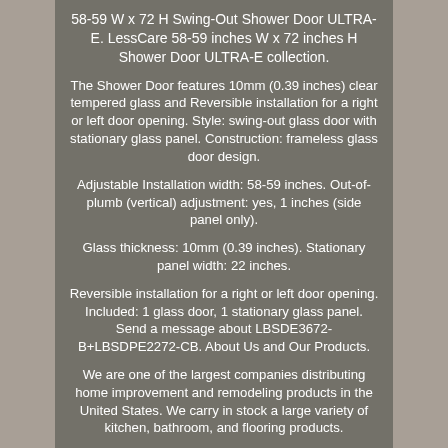58-59 W x 72 H Swing-Out Shower Door ULTRA-E. LessCare 58-59 inches W x 72 inches H Shower Door ULTRA-E collection.
The Shower Door features 10mm (0.39 inches) clear tempered glass and Reversible installation for a right or left door opening. Style: swing-out glass door with stationary glass panel. Construction: frameless glass door design.
Adjustable Installation width: 58-59 inches. Out-of-plumb (vertical) adjustment: yes, 1 inches (side panel only).
Glass thickness: 10mm (0.39 inches). Stationary panel width: 22 inches.
Reversible installation for a right or left door opening. Included: 1 glass door, 1 stationary glass panel. Send a message about LBSDE3672-B+LBSDPE2272-CB. About Us and Our Products.
We are one of the largest companies distributing home improvement and remodeling products in the United States. We carry in stock a large variety of kitchen, bathroom, and flooring products.